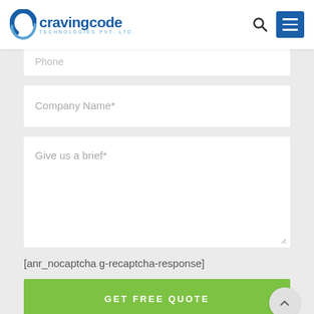[Figure (logo): Craving Code Technologies Pvt. Ltd. logo with blue C icon and company name]
Phone
Company Name*
Give us a brief*
[anr_nocaptcha g-recaptcha-response]
GET FREE QUOTE